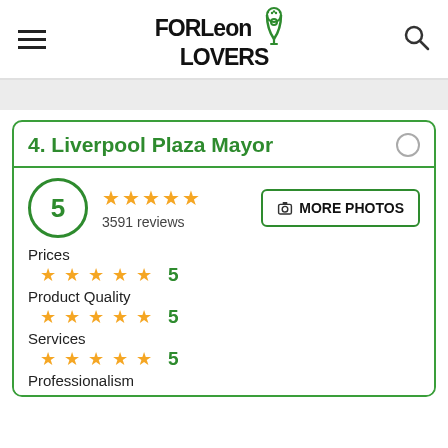FORLeon LOVERS
4. Liverpool Plaza Mayor
5 ★★★★★ 3591 reviews
📷 MORE PHOTOS
Prices ★★★★★ 5
Product Quality ★★★★★ 5
Services ★★★★★ 5
Professionalism